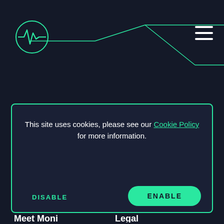[Figure (logo): Small Moni heartbeat logo icon in top-left corner, green circle with EKG line]
[Figure (schematic): Green angular line decoration across top of page, geometric stepped line]
[Figure (logo): Larger Moni heartbeat logo icon in center-left, green circle with EKG line]
[Figure (illustration): Hamburger menu icon (three horizontal white lines) in top-right corner]
Explore Moni
Read Moni
This site uses cookies, please see our Cookie Policy for more information.
DISABLE
ENABLE
Meet Moni
Legal